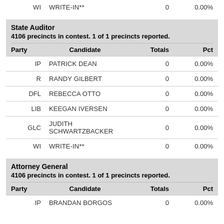| Party | Candidate | Totals | Pct |
| --- | --- | --- | --- |
| WI | WRITE-IN** | 0 | 0.00% |
State Auditor
4106 precincts in contest. 1 of 1 precincts reported.
| Party | Candidate | Totals | Pct |
| --- | --- | --- | --- |
| IP | PATRICK DEAN | 0 | 0.00% |
| R | RANDY GILBERT | 0 | 0.00% |
| DFL | REBECCA OTTO | 0 | 0.00% |
| LIB | KEEGAN IVERSEN | 0 | 0.00% |
| GLC | JUDITH SCHWARTZBACKER | 0 | 0.00% |
| WI | WRITE-IN** | 0 | 0.00% |
Attorney General
4106 precincts in contest. 1 of 1 precincts reported.
| Party | Candidate | Totals | Pct |
| --- | --- | --- | --- |
| IP | BRANDAN BORGOS | 0 | 0.00% |